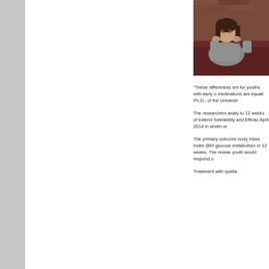[Figure (photo): Young woman sitting on a couch with hands clasped near her face, looking anxious or worried. Dark leather sofa in background.]
“These differences em for youths with early o medications are equall Ph.D., of the Universit
The researchers analy to 12 weeks of extend Tolerability and Efficac April 2014 in seven ur
The primary outcome body mass index (BM glucose metabolism m 12 weeks. The resear youth would respond o
Treatment with quetia